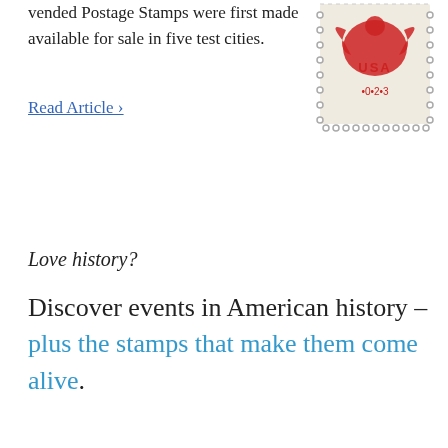Vended Postage Stamps were first made available for sale in five test cities.
[Figure (illustration): A red USA postage stamp with an eagle design and denomination reading A·0·2·3, with perforated edges, on a light beige background.]
Read Article >
Love history?
Discover events in American history – plus the stamps that make them come alive.